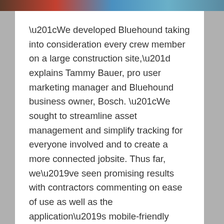[Figure (photo): Cropped photo strip at top showing people on a construction site, with red, blue, and teal tones]
“We developed Bluehound taking into consideration every crew member on a large construction site,” explains Tammy Bauer, pro user marketing manager and Bluehound business owner, Bosch. “We sought to streamline asset management and simplify tracking for everyone involved and to create a more connected jobsite. Thus far, we’ve seen promising results with contractors commenting on ease of use as well as the application’s mobile-friendly interface and useful data tracking.”
Bluehound uses a subscription-based